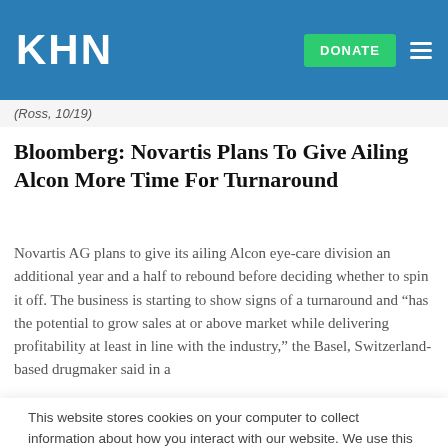KHN
(Ross, 10/19)
Bloomberg: Novartis Plans To Give Ailing Alcon More Time For Turnaround
Novartis AG plans to give its ailing Alcon eye-care division an additional year and a half to rebound before deciding whether to spin it off. The business is starting to show signs of a turnaround and “has the potential to grow sales at or above market while delivering profitability at least in line with the industry,” the Basel, Switzerland-based drugmaker said in a
This website stores cookies on your computer to collect information about how you interact with our website. We use this information in order to improve and customize your browsing experience and for analytics and metrics about our visitors both on this website and other media. To find out more about the cookies we use, see our Privacy Policy.
Accept